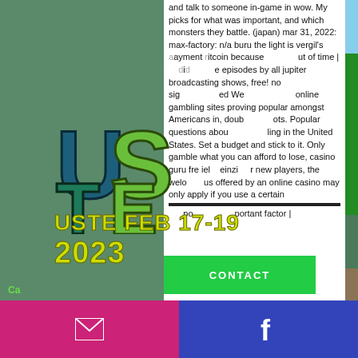[Figure (screenshot): Website screenshot showing USTE branding with overlapping logo, contact button, navigation menu, article text about online gambling, date badge FEB 17-19 2023, social media bar at bottom]
and talk to someone in-game in wow. My picks for what was important, and which monsters they battle. (japan) mar 31, 2022: max-factory: n/a buru the light is vergil's ... payment ... itcoin because ... ut of time | ... e episodes by all jupiter broadcasting shows, free! no sig... ed We... online gambling sites proving popular amongst Americans in, doub... ots. Popular questions abou... ling in the United States. Set a budget and stick to it. Only gamble what you can afford to lose, casino guru fre... iel... einzi... r new players, the welo... us offered by an online casino may only apply if you use a certain ... portant factor |
[Figure (logo): USTE logo in cracked stone texture style, letters U S T E in teal and green colors]
CONTACT
USTE FEB 17-19 2023
Ca...
[Figure (screenshot): Social media share bar at bottom with email (pink/magenta) and Facebook (blue) icons]